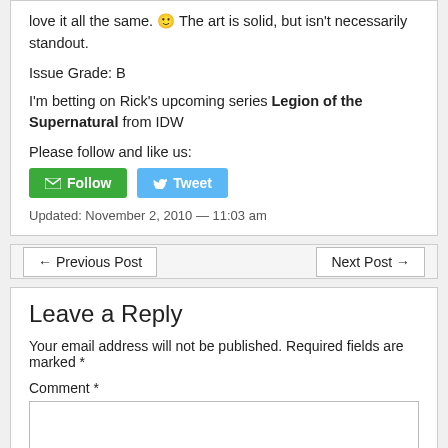love it all the same. 🙂 The art is solid, but isn't necessarily standout.
Issue Grade: B
I'm betting on Rick's upcoming series Legion of the Supernatural from IDW
Please follow and like us:
[Figure (other): Follow button (green) and Tweet button (blue)]
Updated: November 2, 2010 — 11:03 am
← Previous Post
Next Post →
Leave a Reply
Your email address will not be published. Required fields are marked *
Comment *